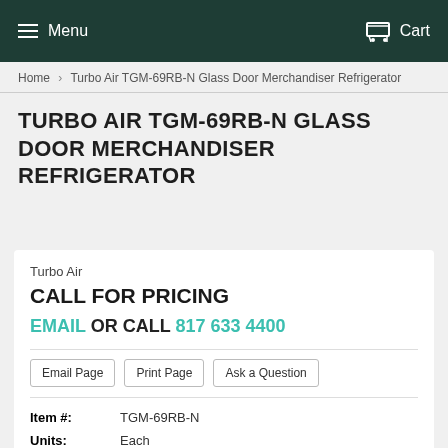Menu  Cart
Home > Turbo Air TGM-69RB-N Glass Door Merchandiser Refrigerator
TURBO AIR TGM-69RB-N GLASS DOOR MERCHANDISER REFRIGERATOR
Turbo Air
CALL FOR PRICING
EMAIL OR CALL 817 633 4400
Email Page  Print Page  Ask a Question
| Item #: | TGM-69RB-N |
| Units: | Each |
| Shipping: | Usually ship within 1-2 business days |
| Brand: |  |